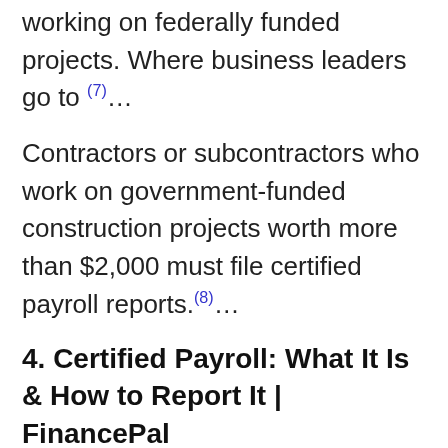working on federally funded projects. Where business leaders go to (7)...
Contractors or subcontractors who work on government-funded construction projects worth more than $2,000 must file certified payroll reports.(8)...
4. Certified Payroll: What It Is & How to Report It | FinancePal
Certified payroll is a weekly payroll report that a company must submit for federally funded (or assisted) projects, such as government- (9)...